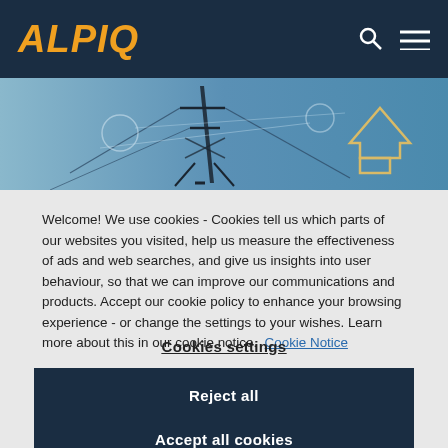ALPIQ
[Figure (photo): Hero image of an electricity transmission pylon/tower against a blue sky with digital network overlay graphics and glowing arrow icons]
Welcome! We use cookies - Cookies tell us which parts of our websites you visited, help us measure the effectiveness of ads and web searches, and give us insights into user behaviour, so that we can improve our communications and products. Accept our cookie policy to enhance your browsing experience - or change the settings to your wishes. Learn more about this in our cookie notice. Cookie Notice
Cookies settings
Reject all
Accept all cookies